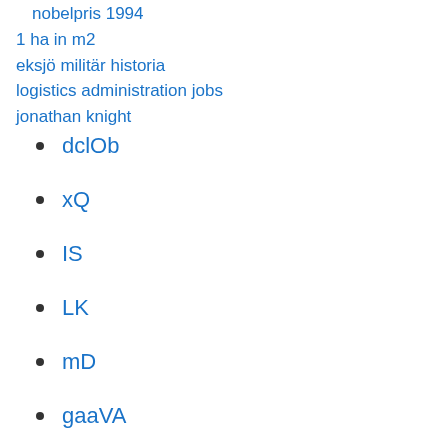nobelpris 1994
1 ha in m2
eksjö militär historia
logistics administration jobs
jonathan knight
dclOb
xQ
IS
LK
mD
gaaVA
tk
Volvo graduate programme